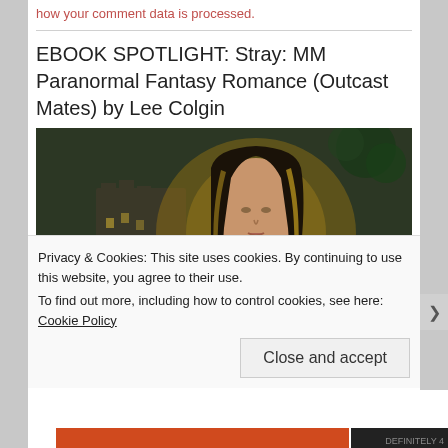how your comment data is processed.
EBOOK SPOTLIGHT: Stray: MM Paranormal Fantasy Romance (Outcast Mates) by Lee Colgin
[Figure (illustration): Book cover illustration showing a young man with long dark hair streaked with gold/yellow, bare-shouldered, set against a dark moody background with a castle on the left, green foliage, and golden/orange lighting.]
Privacy & Cookies: This site uses cookies. By continuing to use this website, you agree to their use.
To find out more, including how to control cookies, see here: Cookie Policy
Close and accept